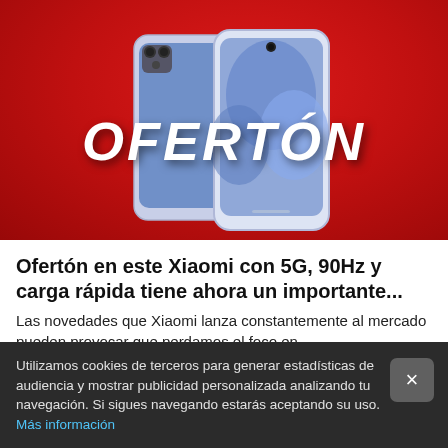[Figure (photo): Promotional banner image with red background showing a Xiaomi smartphone and the word OFERTÓN in large italic white text]
Ofertón en este Xiaomi con 5G, 90Hz y carga rápida tiene ahora un importante...
Las novedades que Xiaomi lanza constantemente al mercado pueden provocar que perdamos el foco en ...
xatakaandroid.com
Utilizamos cookies de terceros para generar estadísticas de audiencia y mostrar publicidad personalizada analizando tu navegación. Si sigues navegando estarás aceptando su uso. Más información